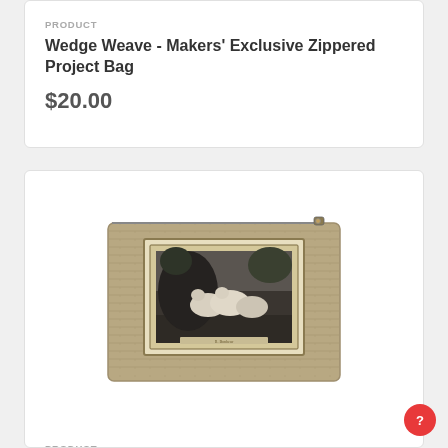PRODUCT
Wedge Weave - Makers' Exclusive Zippered Project Bag
$20.00
[Figure (photo): A zippered project bag with a woven textile exterior featuring a framed black-and-white image of 19th century sheep in a pastoral barn scene.]
PRODUCT
19th Century Sheep - Makers' Exclusive Zippered Project Bag